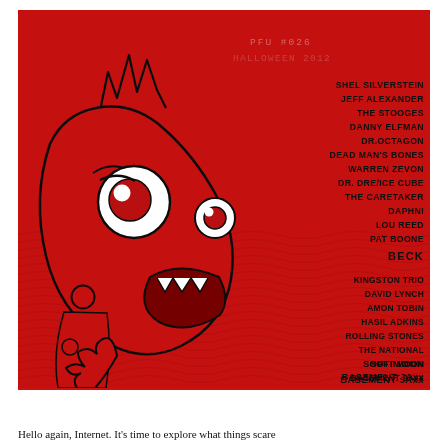[Figure (illustration): A red illustrated magazine cover or playlist cover featuring a cartoon sea creature/fish monster with big white eyes and an open mouth on a red background with wavy water lines. On the right side, text reads 'PFU #026 HALLOWEEN 2012' followed by a list of artists: SHEL SILVERSTEIN, JEFF ALEXANDER, THE STOOGES, DANNY ELFMAN, DR.OCTAGON, DEAD MAN'S BONES, WARREN ZEVON, DR. DRE/ICE CUBE, THE CARETAKER, DAPHNI, LOU REED, PAT BOONE, BECK, KINGSTON TRIO, DAVID LYNCH, AMON TOBIN, HASIL ADKINS, ROLLING STONES, THE NATIONAL, SOFT MOON, BASEMENT JAxx, BOB DYLAN, SQUIRREL NUT ZIPPERS, SCREAMING LORD STITCH]
Hello again, Internet. It's time to explore what things scare